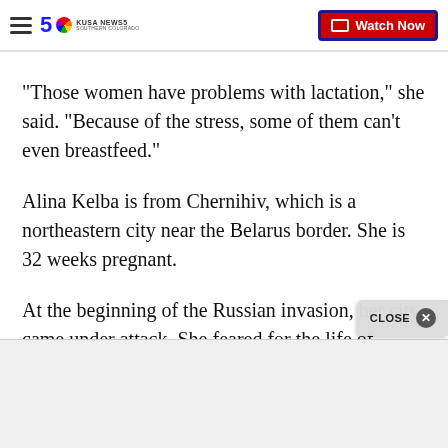KUSA NEWS5 Southern Colorado — Watch Now
"Those women have problems with lactation," she said. "Because of the stress, some of them can't even breastfeed."
Alina Kelba is from Chernihiv, which is a northeastern city near the Belarus border. She is 32 weeks pregnant.
At the beginning of the Russian invasion, her city came under attack. She feared for the life of herself, her husband, her three-year-old and her unborn chi...